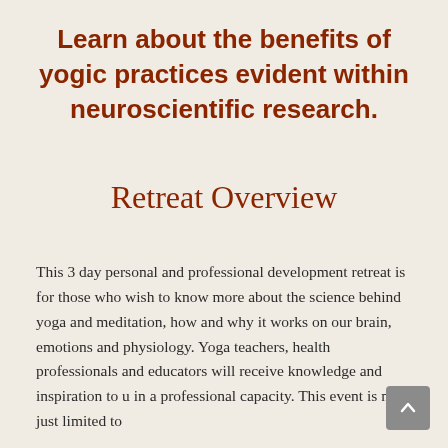Learn about the benefits of yogic practices evident within neuroscientific research.
Retreat Overview
This 3 day personal and professional development retreat is for those who wish to know more about the science behind yoga and meditation, how and why it works on our brain, emotions and physiology. Yoga teachers, health professionals and educators will receive knowledge and inspiration to u... in a professional capacity. This event is not just limited to